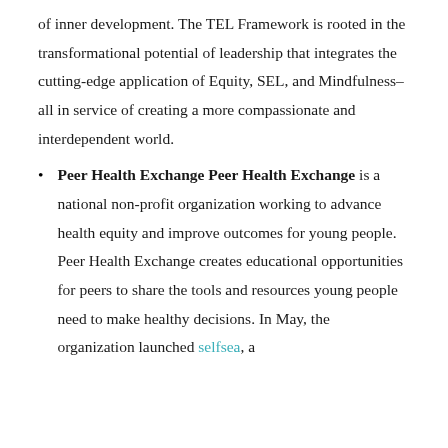of inner development. The TEL Framework is rooted in the transformational potential of leadership that integrates the cutting-edge application of Equity, SEL, and Mindfulness–all in service of creating a more compassionate and interdependent world.
Peer Health Exchange Peer Health Exchange is a national non-profit organization working to advance health equity and improve outcomes for young people. Peer Health Exchange creates educational opportunities for peers to share the tools and resources young people need to make healthy decisions. In May, the organization launched selfsea, a